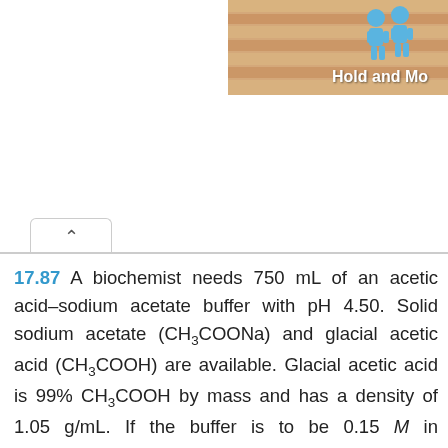[Figure (illustration): Header banner with wood/striped background and 'Hold and Move' text with blue figure icons]
17.87 A biochemist needs 750 mL of an acetic acid–sodium acetate buffer with pH 4.50. Solid sodium acetate (CH3COONa) and glacial acetic acid (CH3COOH) are available. Glacial acetic acid is 99% CH3COOH by mass and has a density of 1.05 g/mL. If the buffer is to be 0.15 M in CH3COOH, how many grams of CH3COONa and how many milliliters of glacial acetic acid must be used?